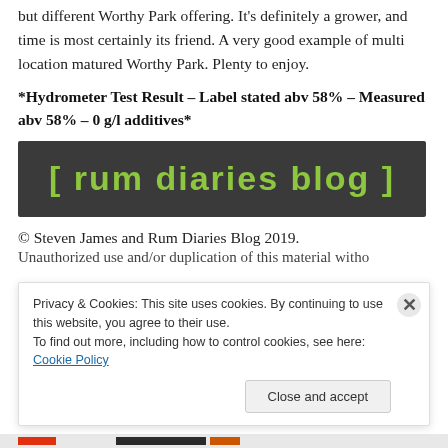but different Worthy Park offering. It's definitely a grower, and time is most certainly its friend. A very good example of multi location matured Worthy Park. Plenty to enjoy.
*Hydrometer Test Result – Label stated abv 58% – Measured abv 58% – 0 g/l additives*
[Figure (logo): Rum Diaries Blog logo — green text '[ rum diaries blog ]' on dark grey background]
© Steven James and Rum Diaries Blog 2019.
Privacy & Cookies: This site uses cookies. By continuing to use this website, you agree to their use. To find out more, including how to control cookies, see here: Cookie Policy